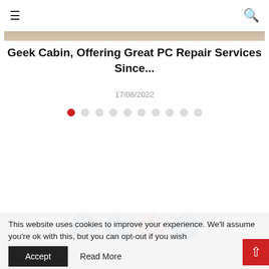≡  🔍
[Figure (photo): Partial view of an article header image, appears to be a laptop or PC repair related photo with wooden/marble surface, cropped at top of page]
Geek Cabin, Offering Great PC Repair Services Since...
17/08/2022
[Figure (other): Carousel navigation dots: 10 dots, first one filled red, rest empty/grey]
[Figure (other): Social media icons row: Facebook (blue circle), Twitter (light blue circle), Instagram (gradient circle), LinkedIn (blue circle), partially visible at bottom of content area]
This website uses cookies to improve your experience. We'll assume you're ok with this, but you can opt-out if you wish
Accept   Read More